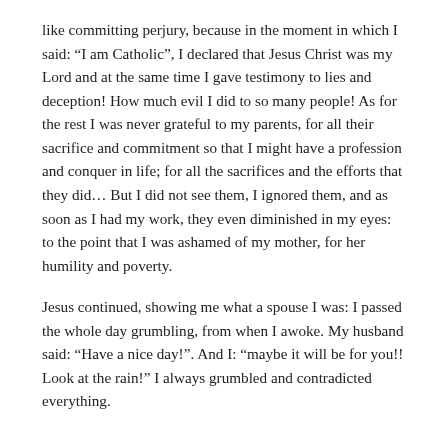like committing perjury, because in the moment in which I said: “I am Catholic”, I declared that Jesus Christ was my Lord and at the same time I gave testimony to lies and deception! How much evil I did to so many people! As for the rest I was never grateful to my parents, for all their sacrifice and commitment so that I might have a profession and conquer in life; for all the sacrifices and the efforts that they did… But I did not see them, I ignored them, and as soon as I had my work, they even diminished in my eyes: to the point that I was ashamed of my mother, for her humility and poverty.
Jesus continued, showing me what a spouse I was: I passed the whole day grumbling, from when I awoke. My husband said: “Have a nice day!”. And I: “maybe it will be for you!! Look at the rain!” I always grumbled and contradicted everything.